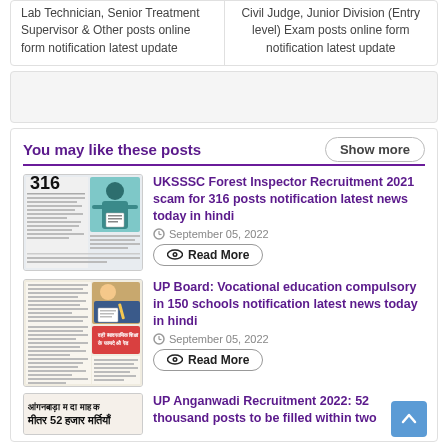Lab Technician, Senior Treatment Supervisor & Other posts online form notification latest update
Civil Judge, Junior Division (Entry level) Exam posts online form notification latest update
You may like these posts
Show more
UKSSSC Forest Inspector Recruitment 2021 scam for 316 posts notification latest news today in hindi
September 05, 2022
Read More
UP Board: Vocational education compulsory in 150 schools notification latest news today in hindi
September 05, 2022
Read More
UP Anganwadi Recruitment 2022: 52 thousand posts to be filled within two
[Figure (photo): Newspaper image about UKSSSC Forest Inspector Recruitment 2021 scam for 316 posts, showing a person with documents and the number 316]
[Figure (photo): Newspaper image about UP Board Vocational education compulsory in 150 schools]
[Figure (photo): Newspaper clipping about UP Anganwadi Recruitment 2022, 52 thousand posts in Hindi]